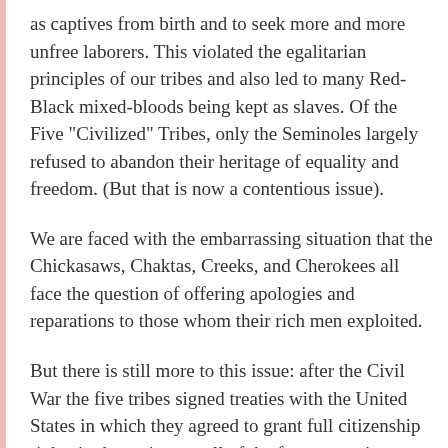as captives from birth and to seek more and more unfree laborers. This violated the egalitarian principles of our tribes and also led to many Red-Black mixed-bloods being kept as slaves. Of the Five "Civilized" Tribes, only the Seminoles largely refused to abandon their heritage of equality and freedom. (But that is now a contentious issue).
We are faced with the embarrassing situation that the Chickasaws, Chaktas, Creeks, and Cherokees all face the question of offering apologies and reparations to those whom their rich men exploited.
But there is still more to this issue: after the Civil War the five tribes signed treaties with the United States in which they agreed to grant full citizenship rights in the nations to all of the former captives (many of whom had fled to Kansas